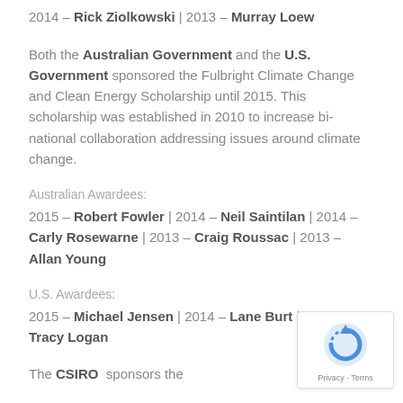2014 – Rick Ziolkowski | 2013 – Murray Loew
Both the Australian Government and the U.S. Government sponsored the Fulbright Climate Change and Clean Energy Scholarship until 2015. This scholarship was established in 2010 to increase bi-national collaboration addressing issues around climate change.
Australian Awardees:
2015 – Robert Fowler | 2014 – Neil Saintilan | 2014 – Carly Rosewarne | 2013 – Craig Roussac | 2013 – Allan Young
U.S. Awardees:
2015 – Michael Jensen | 2014 – Lane Burt | 2013 – Tracy Logan
The CSIRO  sponsors the